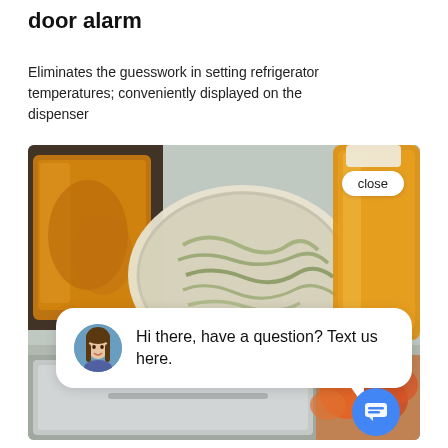door alarm
Eliminates the guesswork in setting refrigerator temperatures; conveniently displayed on the dispenser
[Figure (photo): Interior of a refrigerator showing various food containers including a bowl with noodles/salad, bottles of orange juice, and other food items. A chat widget overlay is visible with a close button, a chat bubble saying 'Hi there, have a question? Text us here.' with a woman's avatar photo, and a blue chat icon button.]